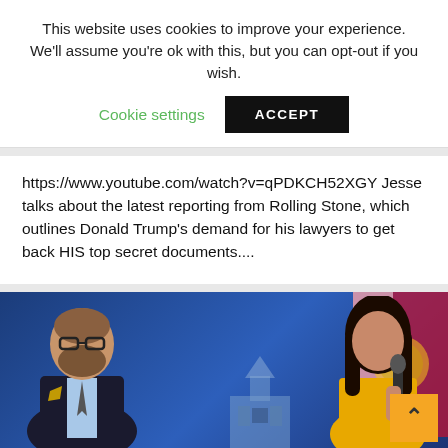This website uses cookies to improve your experience. We'll assume you're ok with this, but you can opt-out if you wish.
Cookie settings   ACCEPT
https://www.youtube.com/watch?v=qPDKCH52XGY Jesse talks about the latest reporting from Rolling Stone, which outlines Donald Trump's demand for his lawyers to get back HIS top secret documents....
[Figure (screenshot): Video thumbnail showing two people — a man in a dark suit with glasses on the left and a woman in a yellow top holding a microphone on the right — against a blue background with flags. A caption bar at the bottom reads 'LAURA LOOMER CRIES AFTER LOSS' in large bold italic white text. An orange back-to-top button with a caret/arrow is visible in the lower right.]
LAURA LOOMER CRIES AFTER LOSS